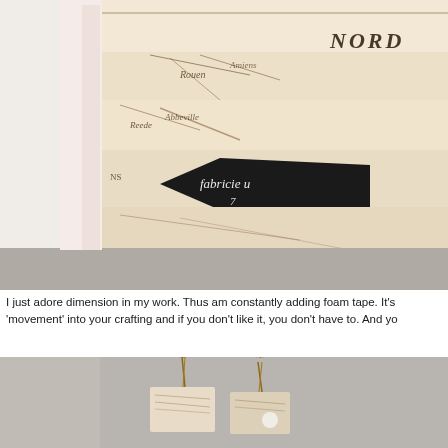[Figure (photo): Close-up photograph of layered cards or book pages decorated with vintage map prints and a black label tag with handwritten text, shot at an angle on a grey surface.]
I just adore dimension in my work. Thus am constantly adding foam tape. It's 'movement' into your crafting and if you don't like it, you don't have to. And yo
[Figure (photo): Photograph of small wrapped gift boxes or packages decorated with vintage map paper and tied with twine, arranged on a grey surface.]